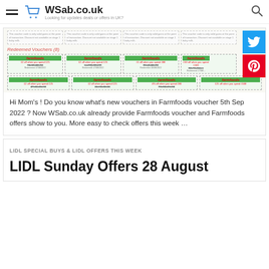WSab.co.uk — Looking for updates deals or offers in UK?
[Figure (screenshot): Screenshot of Farmfoods voucher page showing redeemed vouchers grid with farmfoods branded coupon cards, overlaid with Twitter and Pinterest social share buttons]
Hi Mom's ! Do you know what's new vouchers in Farmfoods voucher 5th Sep 2022 ? Now WSab.co.uk already provide Farmfoods voucher and Farmfoods offers show to you. More easy to check offers this week ...
LIDL SPECIAL BUYS & LIDL OFFERS THIS WEEK
LIDL Sunday Offers 28 August